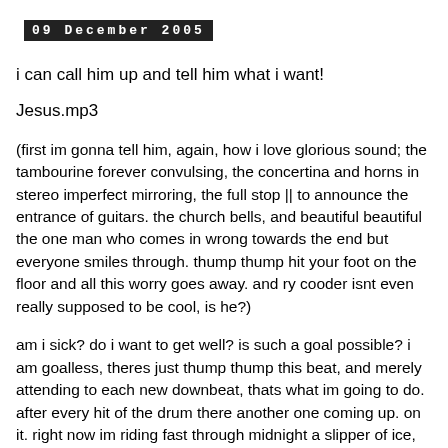09 December 2005
i can call him up and tell him what i want!
Jesus.mp3
(first im gonna tell him, again, how i love glorious sound; the tambourine forever convulsing, the concertina and horns in stereo imperfect mirroring, the full stop || to announce the entrance of guitars. the church bells, and beautiful beautiful the one man who comes in wrong towards the end but everyone smiles through. thump thump hit your foot on the floor and all this worry goes away. and ry cooder isnt even really supposed to be cool, is he?)
am i sick? do i want to get well? is such a goal possible? i am goalless, theres just thump thump this beat, and merely attending to each new downbeat, thats what im going to do. after every hit of the drum there another one coming up. on it. right now im riding fast through midnight a slipper of ice, and the walls of night are a million cymbals suspended and waiting for my playful picket fence stick. im hitting more than